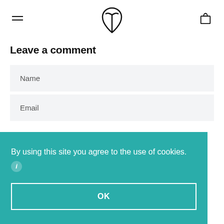[Figure (logo): Navigation header with hamburger menu icon, stylized tulip/leaf logo, and shopping bag icon]
Leave a comment
Name
Email
By using this site you agree to the use of cookies.
OK